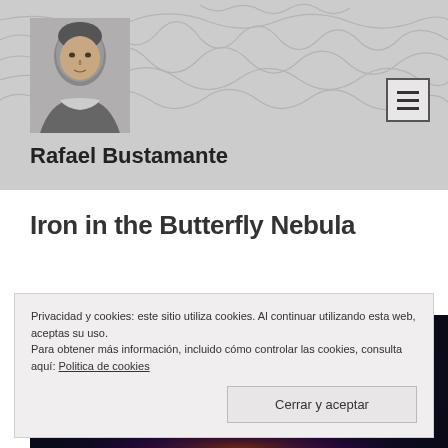Rafael Bustamante
Iron in the Butterfly Nebula
[Figure (photo): Dark space/nebula image strip at bottom]
Privacidad y cookies: este sitio utiliza cookies. Al continuar utilizando esta web, aceptas su uso.
Para obtener más información, incluido cómo controlar las cookies, consulta aquí: Politica de cookies
Cerrar y aceptar